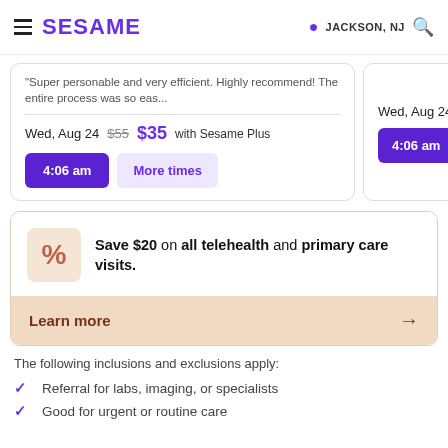SESAME | JACKSON, NJ
"Super personable and very efficient. Highly recommend! The entire process was so eas...
Wed, Aug 24   $55  $35 with Sesame Plus
4:06 am   More times
Wed, Aug 24   4:06 am
Save $20 on all telehealth and primary care visits.
Learn more →
The following inclusions and exclusions apply:
Referral for labs, imaging, or specialists
Good for urgent or routine care